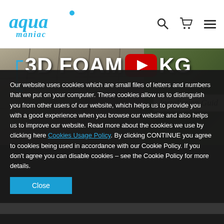[Figure (logo): Aqua Maniac logo in blue italic text with droplet accent]
[Figure (screenshot): Banner showing 3D Foam Background installation guide video thumbnail with stone/rock textures and YouTube play button overlay]
Our website uses cookies which are small files of letters and numbers that we put on your computer. These cookies allow us to distinguish you from other users of our website, which helps us to provide you with a good experience when you browse our website and also helps us to improve our website. Read more about the cookies we use by clicking here Cookies Usage Policy. By clicking CONTINUE you agree to cookies being used in accordance with our Cookie Policy. If you don't agree you can disable cookies – see the Cookie Policy for more details.